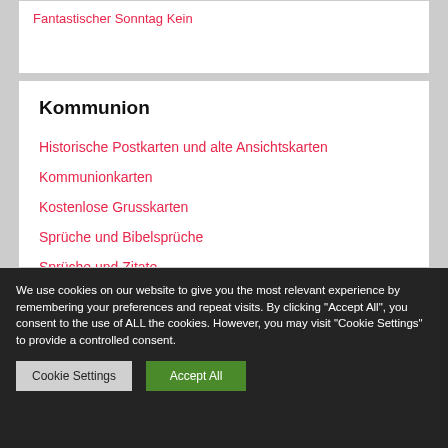Fantastischer Sonntag Kein
Kommunion
Historische Postkarten und alte Ansichtskarten
Kommunionkarten
Kostenlose Grusskarten
Sprüche und Bibelsprüche
Sprüche und Zitate
We use cookies on our website to give you the most relevant experience by remembering your preferences and repeat visits. By clicking "Accept All", you consent to the use of ALL the cookies. However, you may visit "Cookie Settings" to provide a controlled consent.